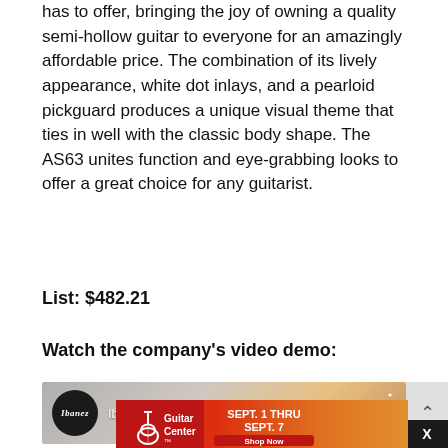has to offer, bringing the joy of owning a quality semi-hollow guitar to everyone for an amazingly affordable price. The combination of its lively appearance, white dot inlays, and a pearloid pickguard produces a unique visual theme that ties in well with the classic body shape. The AS63 unites function and eye-grabbing looks to offer a great choice for any guitarist.
List: $482.21
Watch the company's video demo:
[Figure (screenshot): YouTube video thumbnail for Ibanez Artcore Vibrante Hollow Bo... with Ibanez logo circle and three-dot menu icon]
[Figure (infographic): Guitar Center advertisement banner: red-to-orange gradient background with Guitar Center logo on left and text SEPT. 1 THRU SEPT. 7 with Shop Now button]